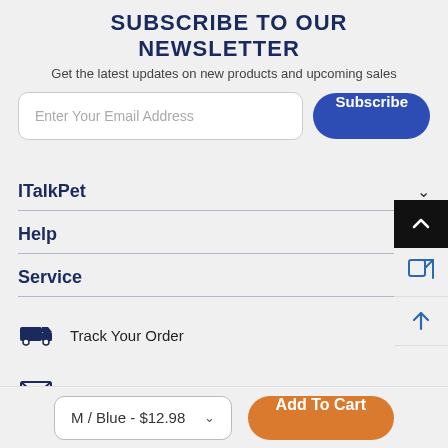SUBSCRIBE TO OUR NEWSLETTER
Get the latest updates on new products and upcoming sales
[Figure (screenshot): Email input field with placeholder 'Enter Your Email Address' and a blue 'Subscribe' button]
ITalkPet
Help
Service
Track Your Order
Email: service@italkpet.com
[Figure (screenshot): Bottom bar with variant selector 'M / Blue - $12.98' and orange 'Add To Cart' button]